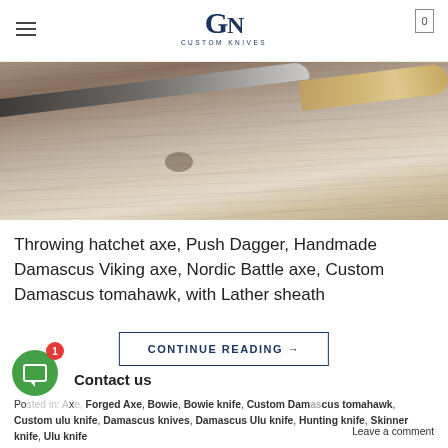GN Custom Knives
[Figure (photo): Hero image showing a handmade Damascus knife with a light wood handle resting on weathered driftwood/wood]
Throwing hatchet axe, Push Dagger, Handmade Damascus Viking axe, Nordic Battle axe, Custom Damascus tomahawk, with Lather sheath
CONTINUE READING →
Contact us
Posted in: Axe, Bowie, Bowie knife, Custom Damascus tomahawk, Custom ulu knife, Damascus knives, Damascus Ulu knife, Hunting knife, Skinner knife, Ulu knife    Leave a comment